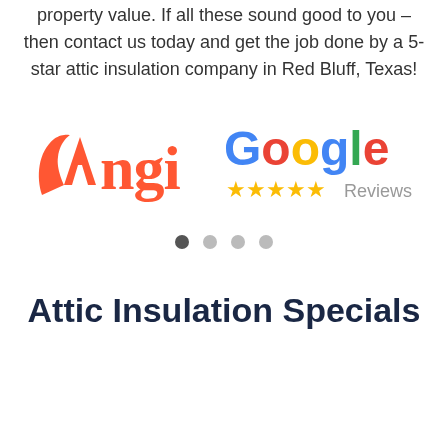property value. If all these sound good to you – then contact us today and get the job done by a 5-star attic insulation company in Red Bluff, Texas!
[Figure (logo): Angi logo in red/coral color and Google Reviews logo with 5 gold stars]
[Figure (infographic): Carousel dots navigation: 4 dots, first filled dark, rest light gray]
Attic Insulation Specials